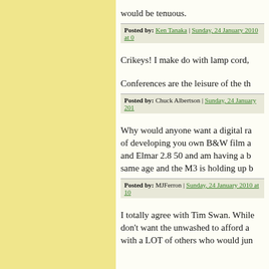would be tenuous.
Posted by: Ken Tanaka | Sunday, 24 January 2010 at 0
Crikeys! I make do with lamp cord,
Conferences are the leisure of the th
Posted by: Chuck Albertson | Sunday, 24 January 201
Why would anyone want a digital ra of developing you own B&W film a and Elmar 2.8 50 and am having a b same age and the M3 is holding up b
Posted by: MJFerron | Sunday, 24 January 2010 at 10
I totally agree with Tim Swan. While don't want the unwashed to afford a with a LOT of others who would jun